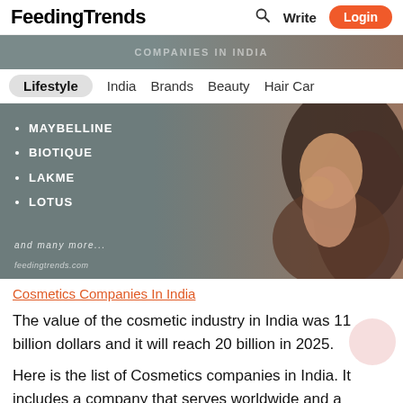FeedingTrends   🔍  Write  Login
[Figure (photo): Partial header image showing text 'COMPANIES IN INDIA' overlay on a woman with dark hair]
Lifestyle   India   Brands   Beauty   Hair Car
[Figure (photo): Banner image showing list: MAYBELLINE, BIOTIQUE, LAKME, LOTUS and many more... feedingtrends.com overlaid on woman with wavy dark hair on gray-brown background]
Cosmetics Companies In India
The value of the cosmetic industry in India was 11 billion dollars and it will reach 20 billion in 2025.
Here is the list of Cosmetics companies in India. It includes a company that serves worldwide and a company that is available only in India.